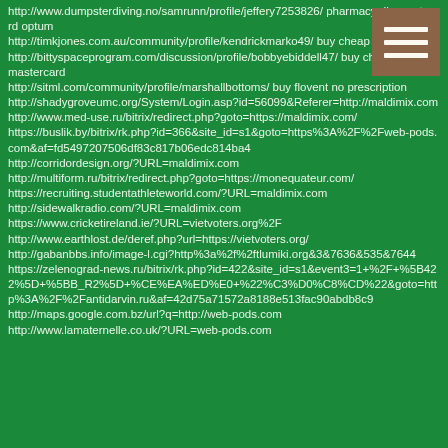http://www.dumpsterdiving.no/samrunn/profile/jeffery7253826/ pharmacy discount card optum
http://timkjones.com.au/community/profile/kendrickmarko49/ buy cheap neurontin
http://bittyspaceprogram.com/discussion/profile/bobbyebiddell47/ buy cheap esperal mastercard
http://sitml.com/community/profile/marshallbottoms/ buy flovent no prescription
http://shadygroveumc.org/System/Login.asp?id=56099&Referer=http://maldimix.com
http://www.med-use.ru/bitrix/redirect.php?goto=https://maldimix.com/
https://buslik.by/bitrix/rk.php?id=366&site_id=s1&goto=https%3A%2F%2Fweb-pods.com&af=fd5497207506df83c817b06edc814ba4
http://corridordesign.org/?URL=maldimix.com
http://multiform.ru/bitrix/redirect.php?goto=https://monequateur.com/
https://recruiting.studentathleteworld.com/?URL=maldimix.com
http://sidewalkradio.com/?URL=maldimix.com
https://www.cricketireland.ie/?URL=vietvoters.org%2F
http://www.earthlost.de/deref.php?url=https://vietvoters.org/
http://gabanbbs.info/image-l.cgi?http%3a%2f%2ftlumiki.org&3&7636&535&7644
https://zelenograd-news.ru/bitrix/rk.php?id=422&site_id=s1&event3=1+%2F+%5B422%5D+%5BB_R2%5D+%CE%EA%ED%E0+%22%C3%D0%C8%CD%22&goto=http%3A%2F%2Fantidarvin.ru&af=42d75a71572a8188e513fac90abdb8c9
http://maps.google.com.bz/url?q=http://web-pods.com
http://www.lamaternelle.co.uk/?URL=web-pods.com
[Figure (other): Hamburger menu icon: three horizontal white lines on a brown/tan square background]